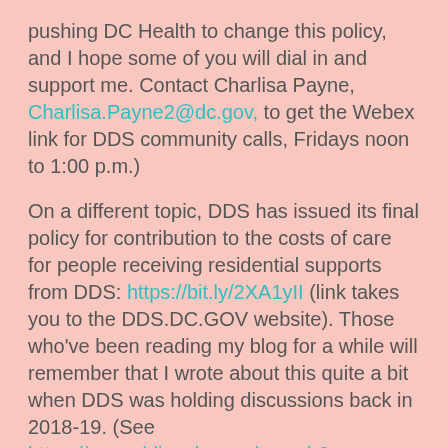pushing DC Health to change this policy, and I hope some of you will dial in and support me.  Contact Charlisa Payne, Charlisa.Payne2@dc.gov, to get the Webex link for DDS community calls, Fridays noon to 1:00 p.m.)
On a different topic, DDS has issued its final policy for contribution to the costs of care for people receiving residential supports from DDS: https://bit.ly/2XA1yII (link takes you to the DDS.DC.GOV website).  Those who've been reading my blog for a while will remember that I wrote about this quite a bit when DDS was holding discussions back in 2018-19.  (See https://www.ddinwdc.com/search?q=contribution+to+).  While the contribution to costs of care is already being collected for many people, it will be rolled out for others beginning with their next ISP meeting.  In essence, it means that anyone whose income comes entirely from public benefits